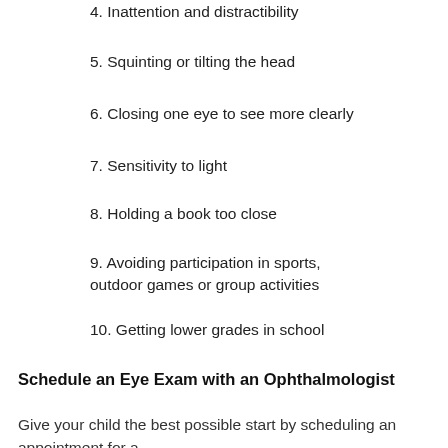4. Inattention and distractibility
5. Squinting or tilting the head
6. Closing one eye to see more clearly
7. Sensitivity to light
8. Holding a book too close
9. Avoiding participation in sports, outdoor games or group activities
10. Getting lower grades in school
Schedule an Eye Exam with an Ophthalmologist
Give your child the best possible start by scheduling an appointment for a